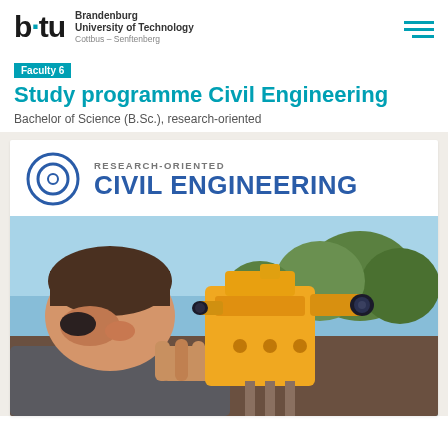[Figure (logo): BTU Brandenburg University of Technology Cottbus-Senftenberg logo with hamburger menu icon]
Faculty 6
Study programme Civil Engineering
Bachelor of Science (B.Sc.), research-oriented
[Figure (infographic): Research-oriented Civil Engineering badge with target/circle icon and large text CIVIL ENGINEERING]
[Figure (photo): Student looking through a yellow surveying theodolite instrument outdoors with trees in background]